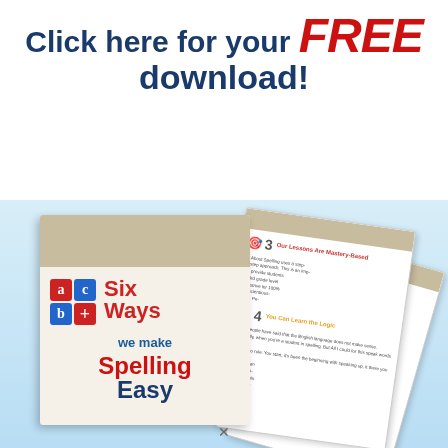Click here for your FREE download!
[Figure (illustration): Promotional graphic showing a book titled 'Six Ways we make Spelling Easy' with ABC letter tiles on the cover, alongside fanned-out inner pages showing numbered sections with icons (target, lightbulb, apple). The books are displayed on a light blue gradient background.]